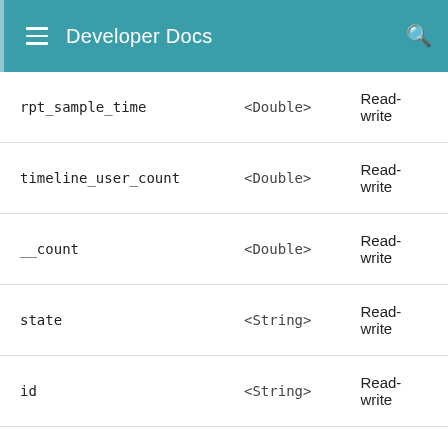Developer Docs
| Property | Type | Access |
| --- | --- | --- |
| rpt_sample_time | <Double> | Read-write |
| timeline_user_count | <Double> | Read-write |
| __count | <Double> | Read-write |
| state | <String> | Read-write |
| id | <String> | Read-write |
|  |  |  |
| app_count | <Double> | Read-write |
| user_count | <Double> | Read-write |